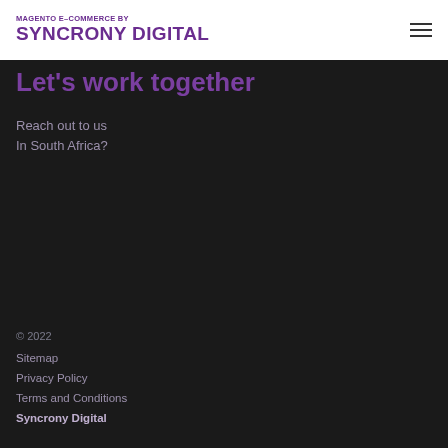MAGENTO E-COMMERCE BY SYNCRONY DIGITAL
Let's work together
Reach out to us
In South Africa?
© 2022
Sitemap
Privacy Policy
Terms and Conditions
Syncrony Digital